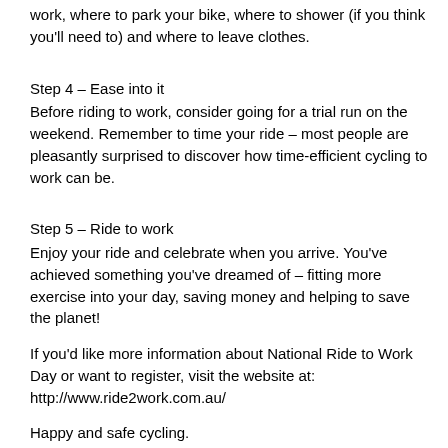work, where to park your bike, where to shower (if you think you'll need to) and where to leave clothes.
Step 4 – Ease into it
Before riding to work, consider going for a trial run on the weekend. Remember to time your ride – most people are pleasantly surprised to discover how time-efficient cycling to work can be.
Step 5 – Ride to work
Enjoy your ride and celebrate when you arrive. You've achieved something you've dreamed of – fitting more exercise into your day, saving money and helping to save the planet!
If you'd like more information about National Ride to Work Day or want to register, visit the website at:
http://www.ride2work.com.au/
Happy and safe cycling.